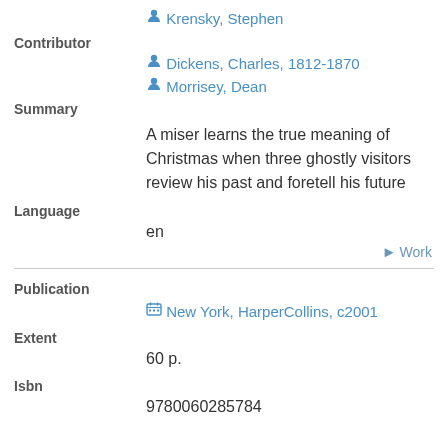Krensky, Stephen
Contributor
Dickens, Charles, 1812-1870
Morrisey, Dean
Summary
A miser learns the true meaning of Christmas when three ghostly visitors review his past and foretell his future
Language
en
Work
Publication
New York, HarperCollins, c2001
Extent
60 p.
Isbn
9780060285784